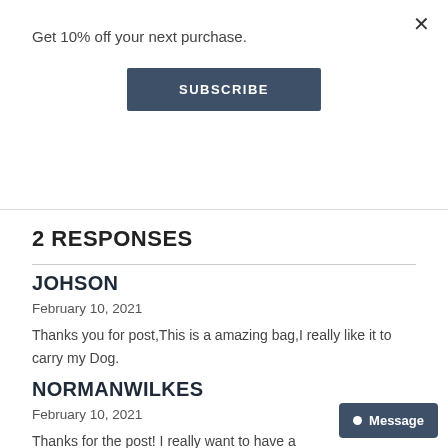Get 10% off your next purchase.
SUBSCRIBE
2 RESPONSES
JOHSON
February 10, 2021
Thanks you for post,This is a amazing bag,I really like it to carry my Dog.
NORMANWILKES
February 10, 2021
Thanks for the post! I really want to have a
Message